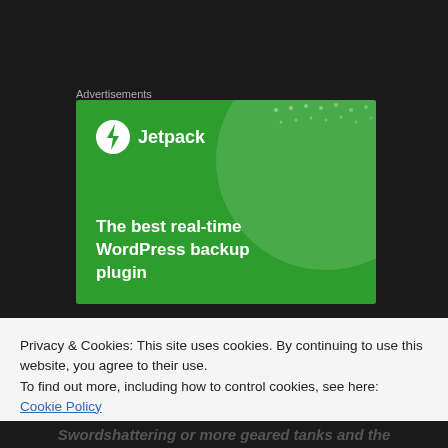Advertisements
[Figure (illustration): Jetpack WordPress plugin advertisement banner on green background. Shows Jetpack logo (circle with lightning bolt) and text: The best real-time WordPress backup plugin]
Privacy & Cookies: This site uses cookies. By continuing to use this website, you agree to their use.
To find out more, including how to control cookies, see here:
Cookie Policy
Close and accept
Swordshattering or more geared tanks and the